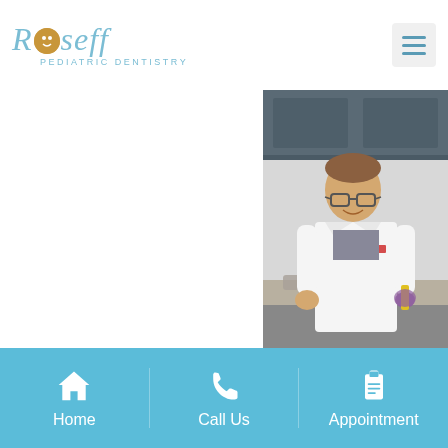[Figure (logo): Roseff Pediatric Dentistry logo in blue cursive font with subtitle 'Pediatric Dentistry']
[Figure (photo): Doctor in white lab coat smiling, standing in a dental office setting. Partially cropped on right side of page.]
Home | Call Us | Appointment